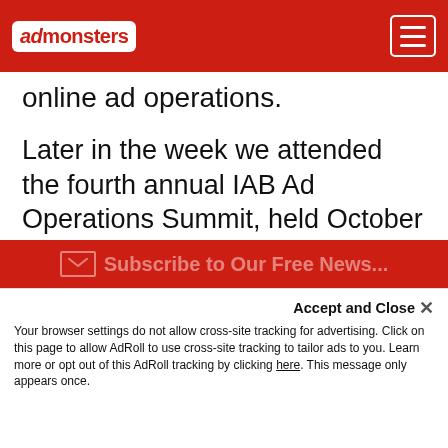admonsters
online ad operations.
Later in the week we attended the fourth annual IAB Ad Operations Summit, held October 30, 2008, at the Roosevelt Hotel in New York. It was impressive to see how much the Summit has grown since its inception in 2005. It was a full house of ad ops folks from across the industry, and the number and seniority of the attendees reflects how far ad operations has come as a practice since its inception in the mid-nineties.
This year's Summit was infused with concerns about the impact of the economic “downturn” on online advertising,
Subscribe to Our Free Newsle...
Accept and Close ×
Your browser settings do not allow cross-site tracking for advertising. Click on this page to allow AdRoll to use cross-site tracking to tailor ads to you. Learn more or opt out of this AdRoll tracking by clicking here. This message only appears once.